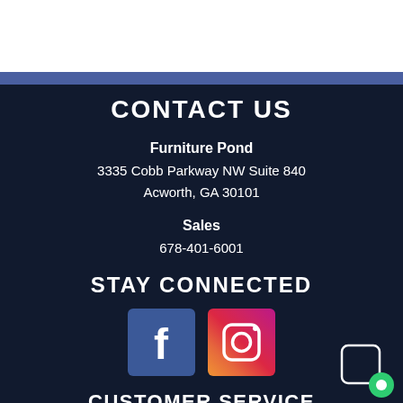CONTACT US
Furniture Pond
3335 Cobb Parkway NW Suite 840
Acworth, GA 30101
Sales
678-401-6001
STAY CONNECTED
[Figure (other): Facebook and Instagram social media icon buttons]
CUSTOMER SERVICE
Contact Us
Financing
Privacy Policy
Terms of Service